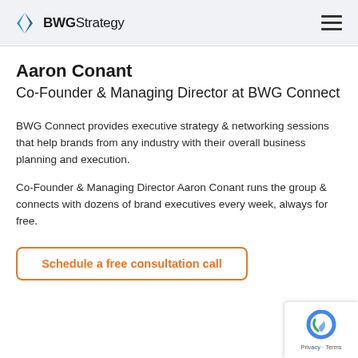BWGStrategy
Aaron Conant
Co-Founder & Managing Director at BWG Connect
BWG Connect provides executive strategy & networking sessions that help brands from any industry with their overall business planning and execution.
Co-Founder & Managing Director Aaron Conant runs the group & connects with dozens of brand executives every week, always for free.
Schedule a free consultation call